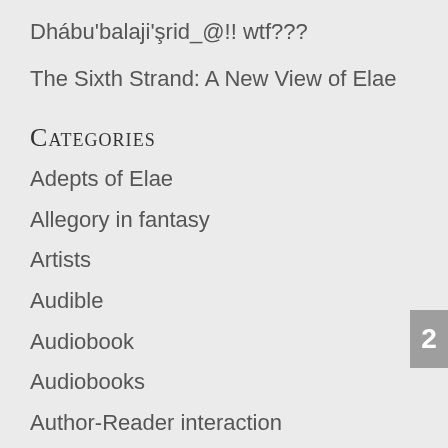Dhábu'balaji'şrid_@!! wtf???
The Sixth Strand: A New View of Elae
Categories
Adepts of Elae
Allegory in fantasy
Artists
Audible
Audiobook
Audiobooks
Author-Reader interaction
Blog Tours
Book Covers
Book five